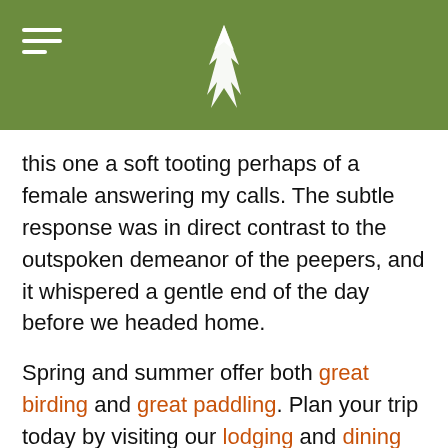Adirondack Experience logo and navigation header
this one a soft tooting perhaps of a female answering my calls. The subtle response was in direct contrast to the outspoken demeanor of the peepers, and it whispered a gentle end of the day before we headed home.
Spring and summer offer both great birding and great paddling. Plan your trip today by visiting our lodging and dining pages.
AdirondackExperience.com